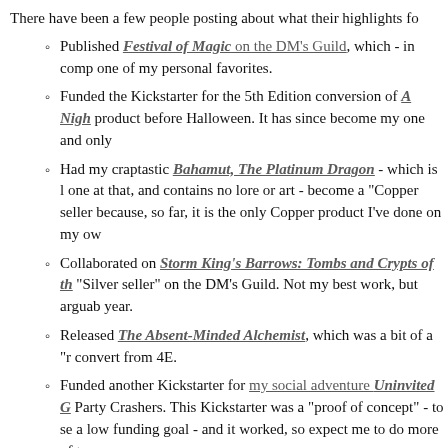There have been a few people posting about what their highlights fo
Published Festival of Magic on the DM's Guild, which - in comp one of my personal favorites.
Funded the Kickstarter for the 5th Edition conversion of A Nigh product before Halloween. It has since become my one and only
Had my craptastic Bahamut, The Platinum Dragon - which is l one at that, and contains no lore or art - become a "Copper seller because, so far, it is the only Copper product I've done on my ow
Collaborated on Storm King's Barrows: Tombs and Crypts of th "Silver seller" on the DM's Guild. Not my best work, but arguab year.
Released The Absent-Minded Alchemist, which was a bit of a "r convert from 4E.
Funded another Kickstarter for my social adventure Uninvited G Party Crashers. This Kickstarter was a "proof of concept" - to se a low funding goal - and it worked, so expect me to do more of t
Launched a Patreon! And the TWO backers I have so far are gett
That's pretty much it. It's not a lot... At a personal level, 2018 has bee life and my financial situation, and those situations are, by nature, no of a rut. But, all in all, it went better than 2017 in some regards, so th
Looking Forward